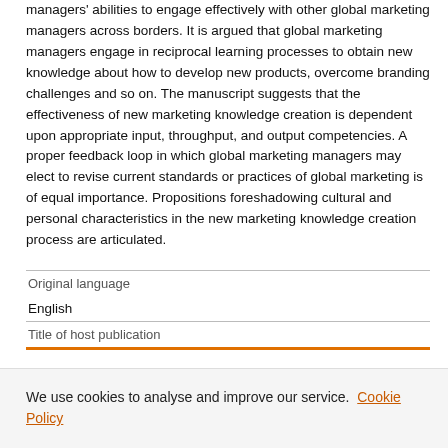managers' abilities to engage effectively with other global marketing managers across borders. It is argued that global marketing managers engage in reciprocal learning processes to obtain new knowledge about how to develop new products, overcome branding challenges and so on. The manuscript suggests that the effectiveness of new marketing knowledge creation is dependent upon appropriate input, throughput, and output competencies. A proper feedback loop in which global marketing managers may elect to revise current standards or practices of global marketing is of equal importance. Propositions foreshadowing cultural and personal characteristics in the new marketing knowledge creation process are articulated.
| Original language |  |
| English |  |
| Title of host publication |  |
We use cookies to analyse and improve our service. Cookie Policy